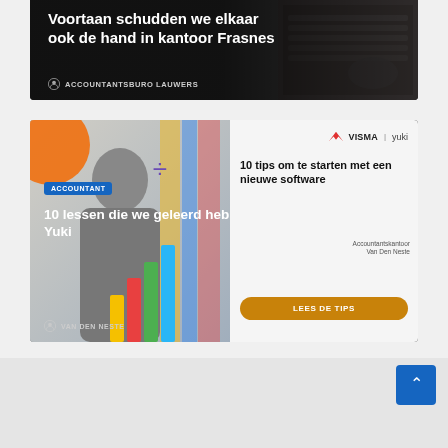[Figure (photo): Article card with dark background showing title 'Voortaan schudden we elkaar ook de hand in kantoor Frasnes' with author 'ACCOUNTANTSBURO LAUWERS' and keyboard/desk photo in background]
Voortaan schudden we elkaar ook de hand in kantoor Frasnes
ACCOUNTANTSBURO LAUWERS
[Figure (photo): Article card with dark background and overlapping Visma Yuki ad. Left side shows person standing in front of colorful background with orange circle, bar charts, and 'ACCOUNTANT' badge. Text reads '10 lessen die we geleerd hebben bij de overstap naar Yuki' by 'VAN DEN NESTE'. Right side shows Visma Yuki ad with '10 tips om te starten met een nieuwe software' and 'LEES DE TIPS' button.]
ACCOUNTANT
10 lessen die we geleerd hebben bij de overstap naar Yuki
VAN DEN NESTE
10 tips om te starten met een nieuwe software
LEES DE TIPS